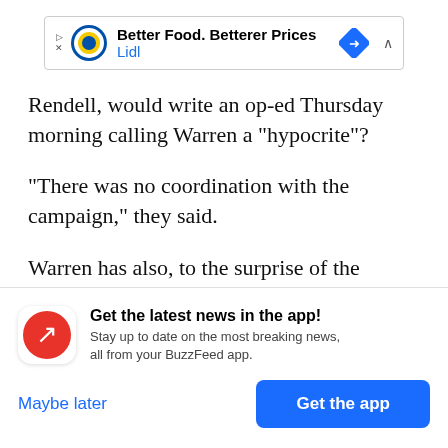[Figure (screenshot): Lidl advertisement banner: 'Better Food. Betterer Prices' with Lidl logo and navigation icon]
Rendell, would write an op-ed Thursday morning calling Warren a “hypocrite”?
“There was no coordination with the campaign,” they said.
Warren has also, to the surprise of the political class, set the standard for how you run a political
[Figure (screenshot): BuzzFeed app notification prompt: 'Get the latest news in the app!' with red BuzzFeed logo, 'Stay up to date on the most breaking news, all from your BuzzFeed app.' with 'Maybe later' and 'Get the app' buttons]